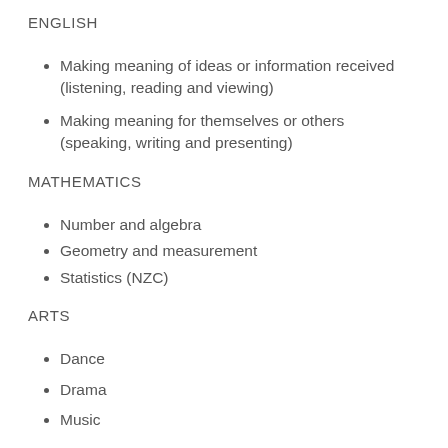ENGLISH
Making meaning of ideas or information received (listening, reading and viewing)
Making meaning for themselves or others (speaking, writing and presenting)
MATHEMATICS
Number and algebra
Geometry and measurement
Statistics (NZC)
ARTS
Dance
Drama
Music